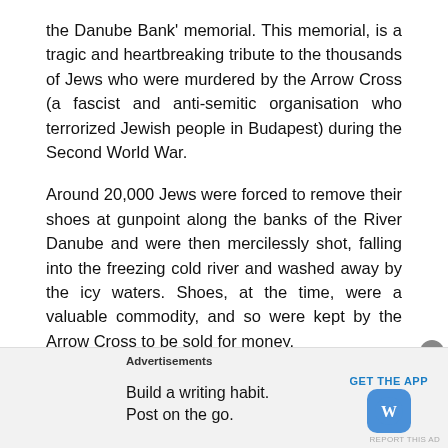the Danube Bank' memorial. This memorial, is a tragic and heartbreaking tribute to the thousands of Jews who were murdered by the Arrow Cross (a fascist and anti-semitic organisation who terrorized Jewish people in Budapest) during the Second World War.
Around 20,000 Jews were forced to remove their shoes at gunpoint along the banks of the River Danube and were then mercilessly shot, falling into the freezing cold river and washed away by the icy waters. Shoes, at the time, were a valuable commodity, and so were kept by the Arrow Cross to be sold for money.
The shoes in the memorial demonstrate that no one – regardless of age, sex or occupation – were spared from the terror and murders. The shoes include male boots...
Advertisements
Build a writing habit. Post on the go. GET THE APP